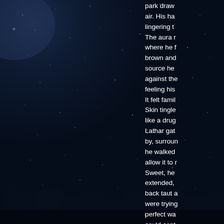[Figure (photo): Night sky photograph showing a dark blue-black sky filled with scattered stars, with silhouettes of trees visible at the bottom edge of the image.]
park draw air. His ha lingering t The aura r where he  brown and source he against the feeling his It felt famil Skin tingle like a drug Lathar gat by, surroun he walked allow it to  Sweet, he extended,  back taut a were tryin perfect wa could cont Should he  ducked off The whole someone